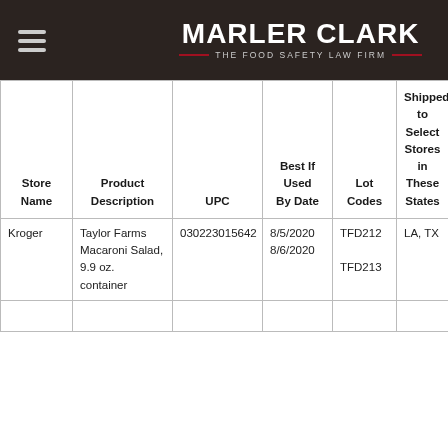MARLER CLARK — THE FOOD SAFETY LAW FIRM
| Store Name | Product Description | UPC | Best If Used By Date | Lot Codes | Shipped to Select Stores in These States |
| --- | --- | --- | --- | --- | --- |
| Kroger | Taylor Farms Macaroni Salad, 9.9 oz. container | 030223015642 | 8/5/2020
8/6/2020 | TFD212
TFD213 | LA, TX |
|  |  |  |  |  |  |